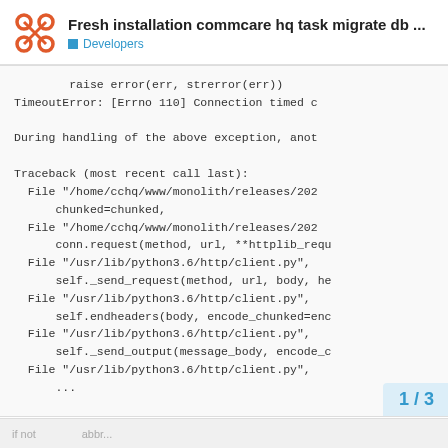Fresh installation commcare hq task migrate db ... | Developers
raise error(err, strerror(err))
TimeoutError: [Errno 110] Connection timed c

During handling of the above exception, anot

Traceback (most recent call last):
  File "/home/cchq/www/monolith/releases/202
      chunked=chunked,
  File "/home/cchq/www/monolith/releases/202
      conn.request(method, url, **httplib_requ
  File "/usr/lib/python3.6/http/client.py",
      self._send_request(method, url, body, he
  File "/usr/lib/python3.6/http/client.py",
      self.endheaders(body, encode_chunked=enc
  File "/usr/lib/python3.6/http/client.py",
      self._send_output(message_body, encode_c
  File "/usr/lib/python3.6/http/client.py",
      ...
1 / 3